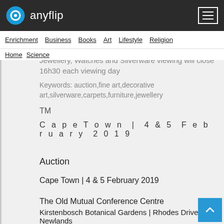anyflip
Enrichment | Business | Books | Art | Lifestyle | Religion | Home | Science
Jewellery, Watches and Silverware viewing will close 16h30 each viewing day
Keywords: auction,fine art,decorative art,silverware,carpets,furniture,jewellery
TM
C a p e T o w n  |  4 & 5  F e b r u a r y  2 0 1 9
Auction
Cape Town | 4 & 5 February 2019
The Old Mutual Conference Centre
Kirstenbosch Botanical Gardens | Rhodes Drive | Newlands